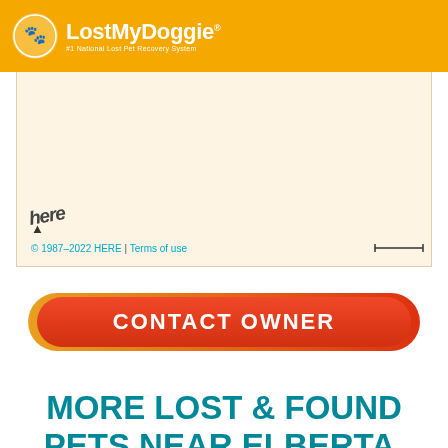LostMyDoggie #1 National Lost Pet Recovery System
[Figure (map): Map view with HERE maps watermark showing a light beige/cream map area. HERE logo and copyright notice visible at bottom left.]
© 1987–2022 HERE | Terms of use
CONTACT OWNER
MORE LOST & FOUND PETS NEAR ELBERTA, AL